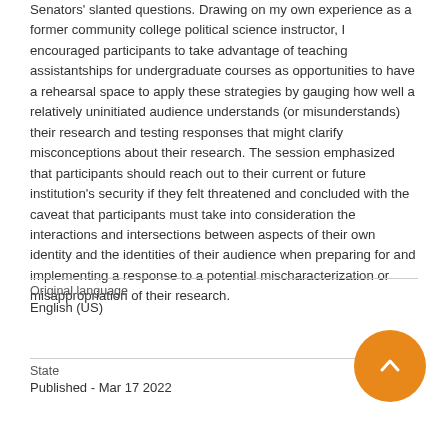Senators' slanted questions. Drawing on my own experience as a former community college political science instructor, I encouraged participants to take advantage of teaching assistantships for undergraduate courses as opportunities to have a rehearsal space to apply these strategies by gauging how well a relatively uninitiated audience understands (or misunderstands) their research and testing responses that might clarify misconceptions about their research. The session emphasized that participants should reach out to their current or future institution's security if they felt threatened and concluded with the caveat that participants must take into consideration the interactions and intersections between aspects of their own identity and the identities of their audience when preparing for and implementing a response to a potential mischaracterization or misappropriation of their research.
| Original language |  |
| --- | --- |
| English (US) |  |
| State |  |
| Published - Mar 17 2022 |  |